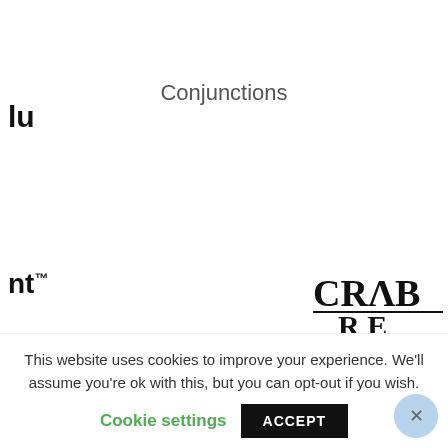lu
Conjunctions
nt™
[Figure (logo): CRAB logo with text 'CRAB' in serif bold with underline and 'RE' below]
[Figure (pie-chart): Partially visible pie chart with a red/salmon left slice and a blue right slice, approximately equal halves, only the top portion visible]
This website uses cookies to improve your experience. We'll assume you're ok with this, but you can opt-out if you wish.
Cookie settings
ACCEPT